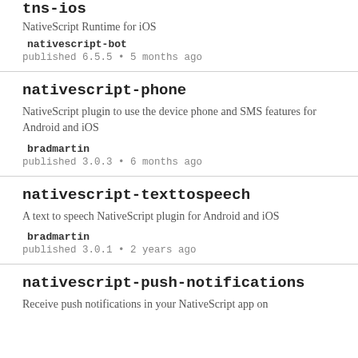tns-ios
NativeScript Runtime for iOS
nativescript-bot
published 6.5.5 • 5 months ago
nativescript-phone
NativeScript plugin to use the device phone and SMS features for Android and iOS
bradmartin
published 3.0.3 • 6 months ago
nativescript-texttospeech
A text to speech NativeScript plugin for Android and iOS
bradmartin
published 3.0.1 • 2 years ago
nativescript-push-notifications
Receive push notifications in your NativeScript app on